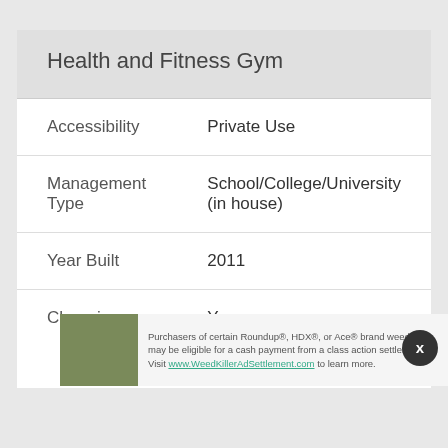Health and Fitness Gym
| Field | Value |
| --- | --- |
| Accessibility | Private Use |
| Management Type | School/College/University (in house) |
| Year Built | 2011 |
| Changing | Yes |